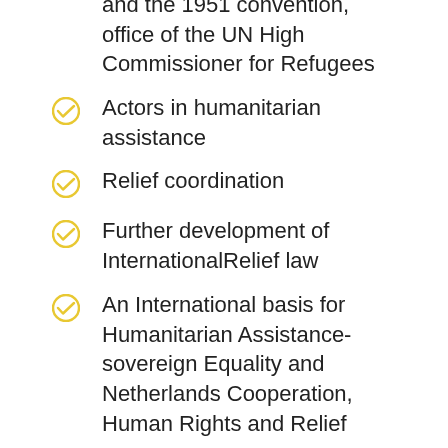and the 1951 convention, office of the UN High Commissioner for Refugees
Actors in humanitarian assistance
Relief coordination
Further development of InternationalRelief law
An International basis for Humanitarian Assistance-sovereign Equality and Netherlands Cooperation, Human Rights and Relief